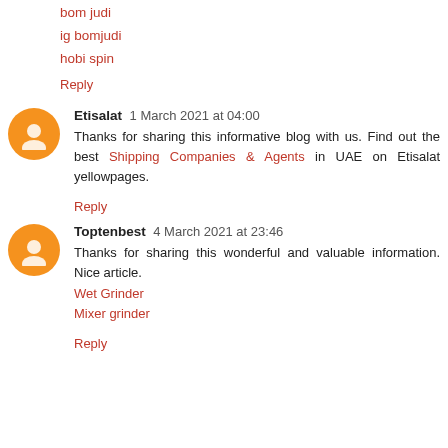bom judi
ig bomjudi
hobi spin
Reply
Etisalat  1 March 2021 at 04:00
Thanks for sharing this informative blog with us. Find out the best Shipping Companies & Agents in UAE on Etisalat yellowpages.
Reply
Toptenbest  4 March 2021 at 23:46
Thanks for sharing this wonderful and valuable information. Nice article.
Wet Grinder
Mixer grinder
Reply